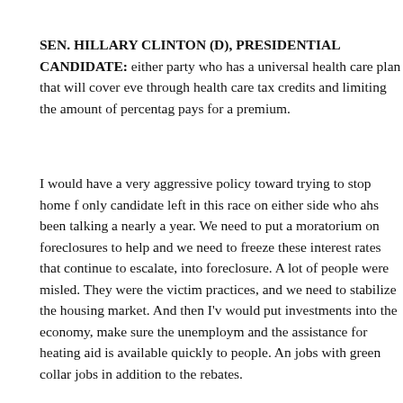SEN. HILLARY CLINTON (D), PRESIDENTIAL CANDIDATE: either party who has a universal health care plan that will cover eve through health care tax credits and limiting the amount of percentag pays for a premium.
I would have a very aggressive policy toward trying to stop home f only candidate left in this race on either side who ahs been talking a nearly a year. We need to put a moratorium on foreclosures to help and we need to freeze these interest rates that continue to escalate, into foreclosure. A lot of people were misled. They were the victim practices, and we need to stabilize the housing market. And then I'v would put investments into the economy, make sure the unemploym and the assistance for heating aid is available quickly to people. An jobs with green collar jobs in addition to the rebates.